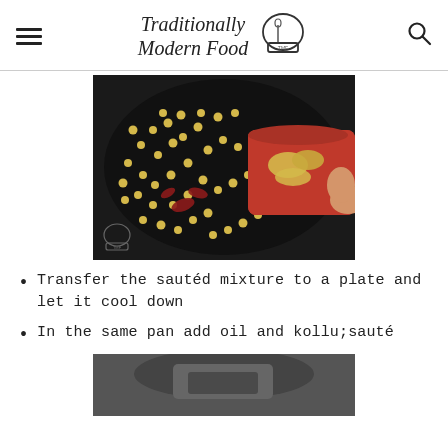Traditionally Modern Food
[Figure (photo): A black skillet pan with yellow lentils/chickpeas scattered across it. A red measuring cup/spoon held by a hand is being used to add sliced ginger pieces into the pan. There are also red dried chili pieces visible in the pan.]
Transfer the sautéd mixture to a plate and let it cool down
In the same pan add oil and kollu;sauté
[Figure (photo): Partial view of a pan or cooking vessel, bottom of image cut off.]